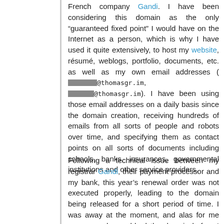French company Gandi. I have been considering this domain as the only “guaranteed fixed point” I would have on the Internet as a person, which is why I have used it quite extensively, to host my website, résumé, weblogs, portfolio, documents, etc. as well as my own email addresses ([redacted]@thomasgr.im, [redacted]@thomasgr.im). I have been using those email addresses on a daily basis since the domain creation, receiving hundreds of emails from all sorts of people and robots over time, and specifying them as contact points on all sorts of documents including schools, banks, insurances, governmental institutions and other service providers.
Following a technical issue between my registrar Gandi, their payment processor and my bank, this year's renewal order was not executed properly, leading to the domain being released for a short period of time. I was away at the moment, and alas for me someone else grabbed the domain before I could buy it back. As a result, according to the WHOIS record, the domain is now owned by the following entity :